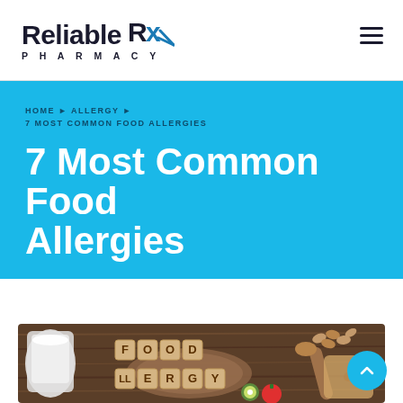Reliable Rx Pharmacy
HOME ▶ ALLERGY ▶
7 MOST COMMON FOOD ALLERGIES
7 Most Common Food Allergies
[Figure (photo): Photo of wooden letter tiles spelling FOOD ALLERGY on a circular wooden board, with a glass jug of milk, almonds, kiwi, tomatoes, and a cutting board with bread visible in the background]